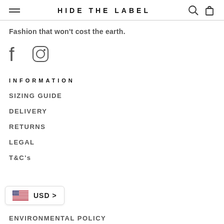HIDE THE LABEL
Fashion that won't cost the earth.
[Figure (illustration): Facebook and Instagram social media icons]
INFORMATION
SIZING GUIDE
DELIVERY
RETURNS
LEGAL
T&C's
[Figure (infographic): USD currency selector widget with US flag]
ENVIRONMENTAL POLICY